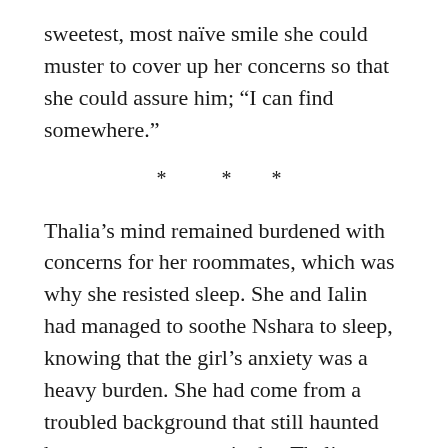sweetest, most naïve smile she could muster to cover up her concerns so that she could assure him; “I can find somewhere.”
* * *
Thalia’s mind remained burdened with concerns for her roommates, which was why she resisted sleep. She and Ialin had managed to soothe Nshara to sleep, knowing that the girl’s anxiety was a heavy burden. She had come from a troubled background that still haunted her, a past so traumatic that Thalia couldn’t comprehend how Nshara could move forward at all. Thalia, Ialin, and even Lianora had chosen religious devotion over traditional